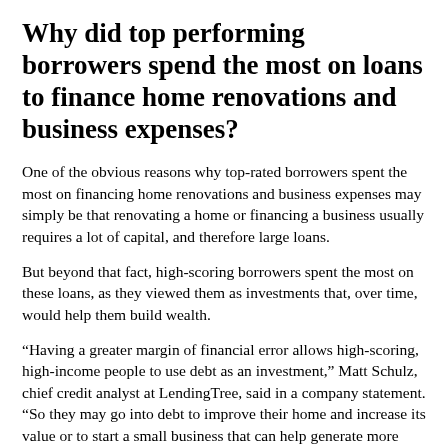Why did top performing borrowers spend the most on loans to finance home renovations and business expenses?
One of the obvious reasons why top-rated borrowers spent the most on financing home renovations and business expenses may simply be that renovating a home or financing a business usually requires a lot of capital, and therefore large loans.
But beyond that fact, high-scoring borrowers spent the most on these loans, as they viewed them as investments that, over time, would help them build wealth.
“Having a greater margin of financial error allows high-scoring, high-income people to use debt as an investment,” Matt Schulz, chief credit analyst at LendingTree, said in a company statement. “So they may go into debt to improve their home and increase its value or to start a small business that can help generate more income for the family.”
This is not to say that those with lower credit scores choose not to use personal loans as an investment, but rather that they may not have the capacity to take on larger debts that result in payments. larger monthly. The lower an individual’s credit score, the less access they will have to high borrowing power, as lenders view...